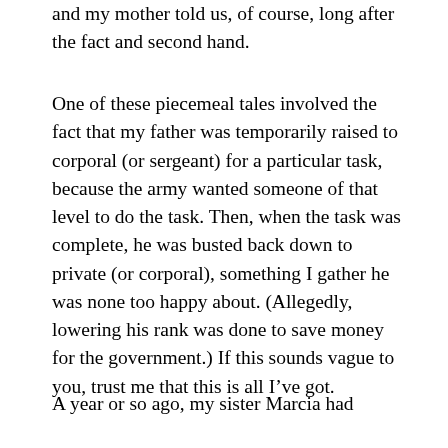and my mother told us, of course, long after the fact and second hand.
One of these piecemeal tales involved the fact that my father was temporarily raised to corporal (or sergeant) for a particular task, because the army wanted someone of that level to do the task. Then, when the task was complete, he was busted back down to private (or corporal), something I gather he was none too happy about. (Allegedly, lowering his rank was done to save money for the government.) If this sounds vague to you, trust me that this is all I’ve got.
A year or so ago, my sister Marcia had contacted the VA and was advised that the